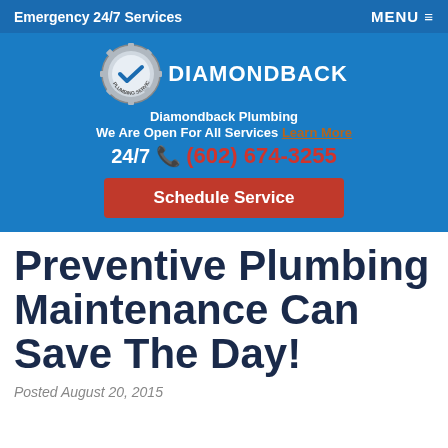Emergency 24/7 Services   MENU ≡
[Figure (logo): Diamondback Plumbing Services, Inc. circular gear logo with DIAMONDBACK text]
Diamondback Plumbing
We Are Open For All Services Learn More
24/7 📞 (602) 674-3255
Schedule Service
Preventive Plumbing Maintenance Can Save The Day!
Posted August 20, 2015